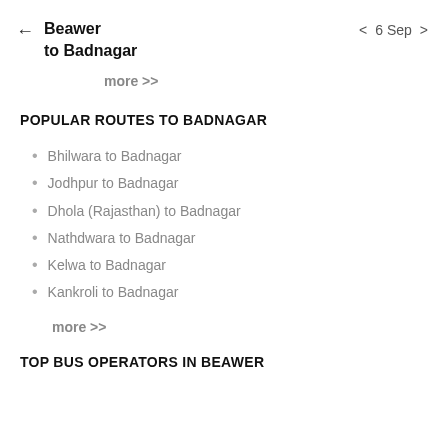← Beawer to Badnagar    < 6 Sep >
more >>
POPULAR ROUTES TO BADNAGAR
Bhilwara to Badnagar
Jodhpur to Badnagar
Dhola (Rajasthan) to Badnagar
Nathdwara to Badnagar
Kelwa to Badnagar
Kankroli to Badnagar
more >>
TOP BUS OPERATORS IN BEAWER